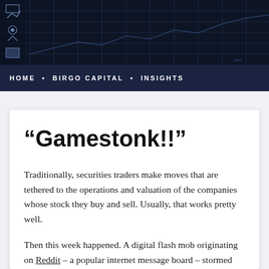[Figure (other): Dark navy header banner with grid chart overlay and small sidebar icons on the left side]
HOME • BIRGO CAPITAL • INSIGHTS
“Gamestonk!!”
Traditionally, securities traders make moves that are tethered to the operations and valuation of the companies whose stock they buy and sell. Usually, that works pretty well.
Then this week happened. A digital flash mob originating on Reddit – a popular internet message board – stormed the hedge fund citadel on Tuesday, January 26, 2021, aggressively buying and promoting a series of stocks that